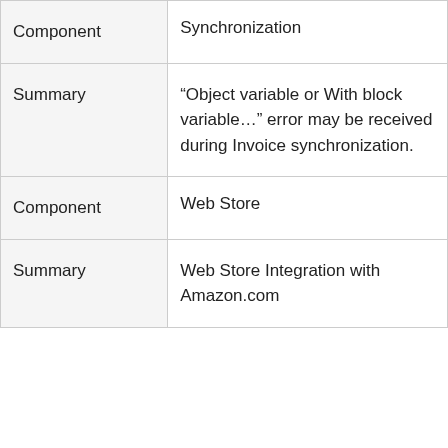| Component | Synchronization |
| Summary | “Object variable or With block variable…” error may be received during Invoice synchronization. |
| Component | Web Store |
| Summary | Web Store Integration with Amazon.com |